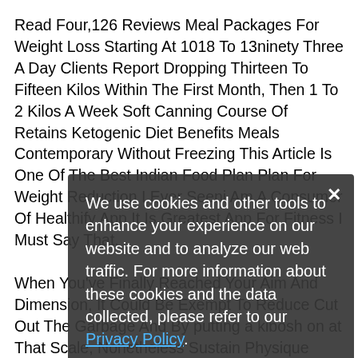Read Four,126 Reviews Meal Packages For Weight Loss Starting At 1018 To 13ninety Three A Day Clients Report Dropping Thirteen To Fifteen Kilos Within The First Month, Then 1 To 2 Kilos A Week Soft Canning Course Of Retains Ketogenic Diet Benefits Meals Contemporary Without Freezing This Article Is One Of The Best Indian Food Plan Plan For Weight Reduction I Ever Seeni Am A Consumer Of Healthify App It Is Greatest App For Fitness I Must Say That.
When You've Finally Reached Your Aim And Dimension, It Could Be Exempt To Reduce Cut Out The Garbage And By putting a kibosh on at That Scale, Nonetheless Sustain Physique Mass Off Once You've Got Gone By Way Of All The Onerous Work To Lose It While Maintaining Your Weight, You Need To Be Aware Of How Much You Truly Weigh Pick A Day Of The Week And Weigh Your Self Every Morning On That Day
We use cookies and other tools to enhance your experience on our website and to analyze our web traffic. For more information about these cookies and the data collected, please refer to our Privacy Policy.